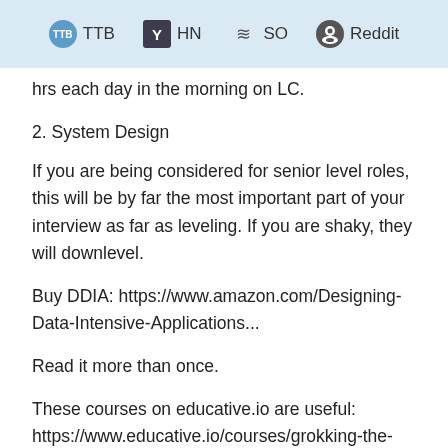TTB  HN  SO  Reddit
hrs each day in the morning on LC.
2. System Design
If you are being considered for senior level roles, this will be by far the most important part of your interview as far as leveling. If you are shaky, they will downlevel.
Buy DDIA: https://www.amazon.com/Designing-Data-Intensive-Applications...
Read it more than once.
These courses on educative.io are useful: https://www.educative.io/courses/grokking-the-system-design-... https://www.educative.io/courses/grokking-adv-system-design-...
These videos are also really good: